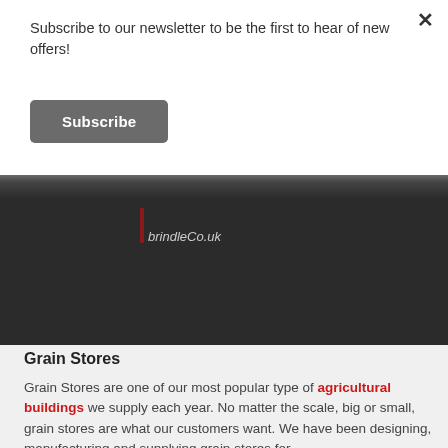Subscribe to our newsletter to be the first to hear of new offers!
Subscribe
[Figure (photo): Dark background banner with a company logo (appears to show a stylized letter mark with text 'brindleCo.uk' or similar) on a dark textured background]
Grain Stores
Grain Stores are one of our most popular type of agricultural buildings we supply each year. No matter the scale, big or small, grain stores are what our customers want. We have been designing, manufacturing and supplying grain stores for